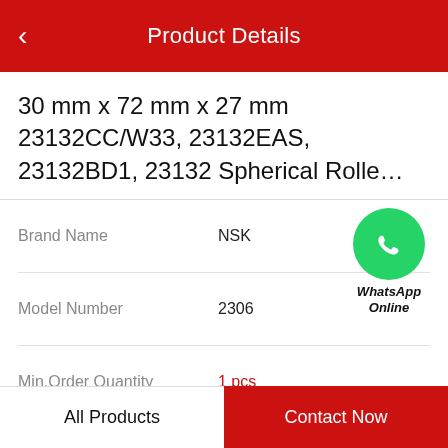Product Details
30 mm x 72 mm x 27 mm 23132CC/W33, 23132EAS, 23132BD1, 23132 Spherical Rolle…
| Brand Name | NSK |
| --- | --- |
| Model Number | 2306 |
| Min.Order Quantity | 1 pcs |
| Price | Negotiable |
[Figure (logo): WhatsApp Online green phone icon with text 'WhatsApp Online']
Product Features
All Products    Contact Now